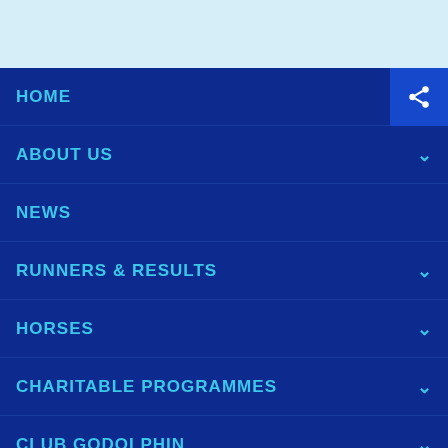[Figure (screenshot): Light blue header bar at the top of the page]
HOME
ABOUT US
NEWS
RUNNERS & RESULTS
HORSES
CHARITABLE PROGRAMMES
CLUB GODOLPHIN
USEFUL LINKS